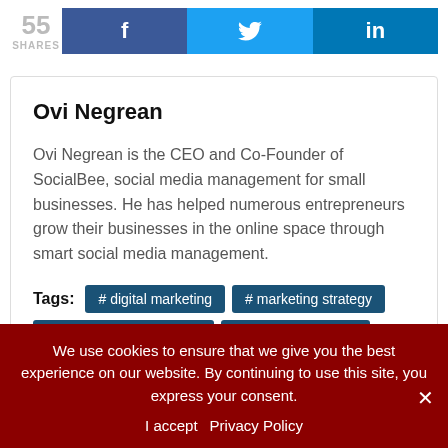[Figure (infographic): Share bar showing 55 SHARES with Facebook, Twitter, and LinkedIn buttons]
Ovi Negrean
Ovi Negrean is the CEO and Co-Founder of SocialBee, social media management for small businesses. He has helped numerous entrepreneurs grow their businesses in the online space through smart social media management.
Tags: #digital marketing  #marketing strategy  #social media marketing  #social media tools  #target audience
We use cookies to ensure that we give you the best experience on our website. By continuing to use this site, you express your consent.
I accept   Privacy Policy